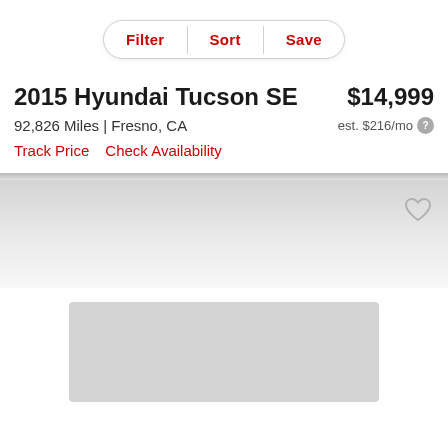[Figure (screenshot): Filter, Sort, Save pill-shaped button bar]
2015 Hyundai Tucson SE
$14,999
92,826 Miles | Fresno, CA
est. $216/mo
Track Price
Check Availability
[Figure (screenshot): Gray gradient card background with heart/favorite icon in top right]
[Figure (photo): Light gray vehicle image placeholder rectangle]